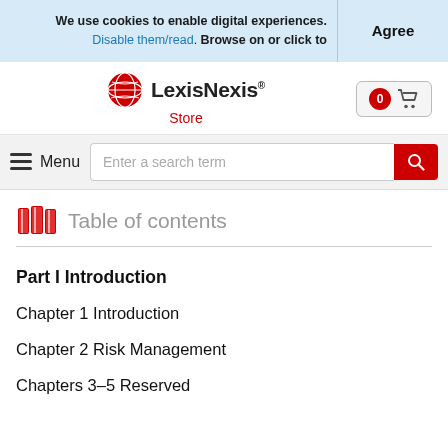We use cookies to enable digital experiences. Disable them/read. Browse on or click to
Agree
[Figure (logo): LexisNexis Store logo with red globe icon]
[Figure (other): Shopping cart button with 0 badge]
Menu
Enter a search term
Table of contents
Part I Introduction
Chapter 1 Introduction
Chapter 2 Risk Management
Chapters 3–5 Reserved